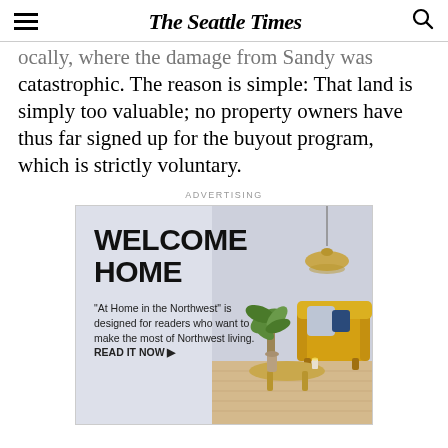The Seattle Times
ocally, where the damage from Sandy was catastrophic. The reason is simple: That land is simply too valuable; no property owners have thus far signed up for the buyout program, which is strictly voluntary.
ADVERTISING
[Figure (illustration): Advertisement for 'At Home in the Northwest' section of The Seattle Times. Dark text reads 'WELCOME HOME' in large bold sans-serif. Below: '"At Home in the Northwest" is designed for readers who want to make the most of Northwest living. READ IT NOW ▶'. Background shows a stylized interior scene with a yellow armchair, lamp, plant, and coffee table on light wood floor.]